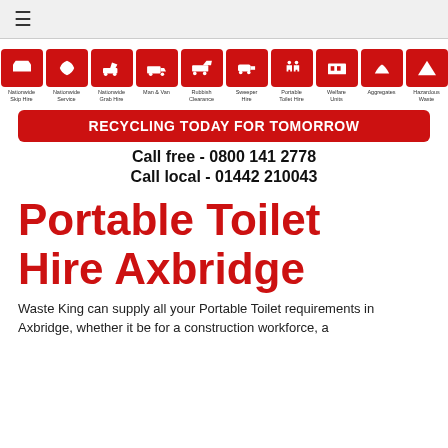≡
[Figure (infographic): Row of 10 red icon boxes representing services: Nationwide Skip Hire, Nationwide Service, Nationwide Grab Hire, Man & Van, Rubbish Clearance, Sweeper Hire, Portable Toilet Hire, Welfare Units, Aggregates, Hazardous Waste]
RECYCLING TODAY FOR TOMORROW
Call free  - 0800 141 2778
Call local - 01442 210043
Portable Toilet Hire Axbridge
Waste King can supply all your Portable Toilet requirements in Axbridge, whether it be for a construction workforce, a